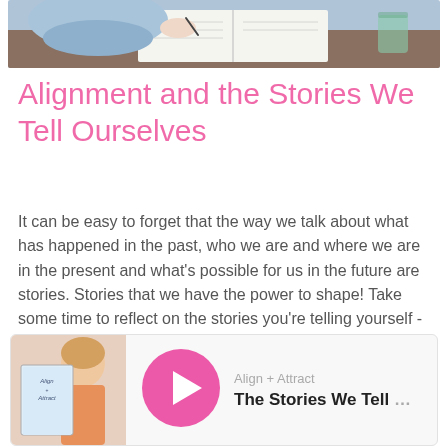[Figure (photo): Photo of a person in a light blue shirt writing in an open notebook on a table, viewed from above/behind]
Alignment and the Stories We Tell Ourselves
It can be easy to forget that the way we talk about what has happened in the past, who we are and where we are in the present and what's possible for us in the future are stories. Stories that we have the power to shape! Take some time to reflect on the stories you're telling yourself - and choose more helpful or empowering stories if you wish.
[Figure (screenshot): Podcast player card showing: thumbnail with person and book cover (Align + Attract), pink circular play button, show name 'Align + Attract', episode title 'The Stories We Tell' (partially clipped)]